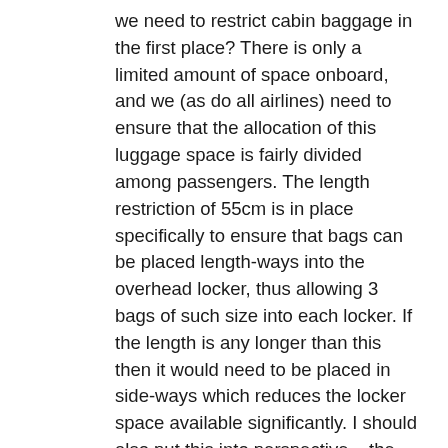we need to restrict cabin baggage in the first place? There is only a limited amount of space onboard, and we (as do all airlines) need to ensure that the allocation of this luggage space is fairly divided among passengers. The length restriction of 55cm is in place specifically to ensure that bags can be placed length-ways into the overhead locker, thus allowing 3 bags of such size into each locker. If the length is any longer than this then it would need to be placed in side-ways which reduces the locker space available significantly. I should also put this into perspective – the amount of passengers who get advised that their bag is too large at the gate is absolutely minimal. The reason we make a charge for those bags that are too big is purely a means of ensuring there is a disincentive to bringing too large a bag. Our staff are not financially incentivised to collect money for gate bags, as the remaining text cuts off...